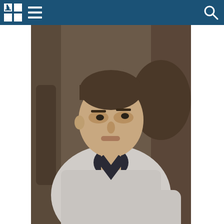Navigation bar with logo and search icon
[Figure (photo): Man in grey polo shirt sitting, looking to the right, indoor background]
Viorel Morari: On Veaceslav Platon’s name might be initiated other penal cases
[Figure (photo): Black and white close-up of prison bars and lock mechanism]